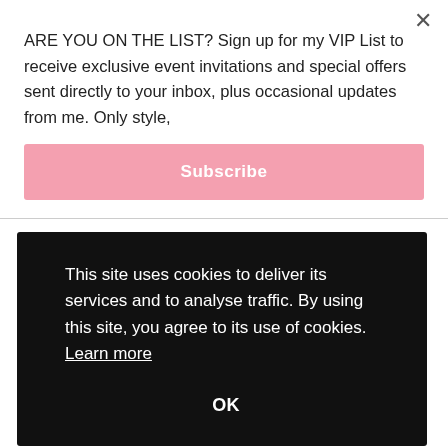ARE YOU ON THE LIST? Sign up for my VIP List to receive exclusive event invitations and special offers sent directly to your inbox, plus occasional updates from me. Only style,
Subscribe
This site uses cookies to deliver its services and to analyse traffic. By using this site, you agree to its use of cookies. Learn more
OK